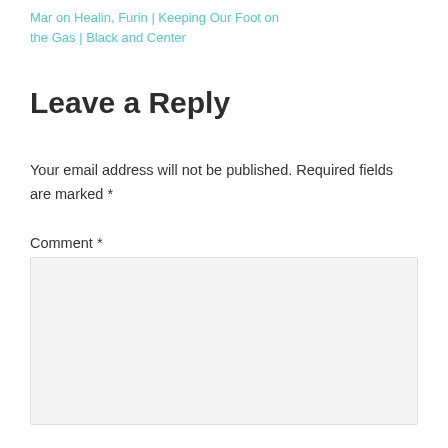Pingback: Mar on Healin, Furin | Keeping Our Foot on the Gas | Black and Center
Leave a Reply
Your email address will not be published. Required fields are marked *
Comment *